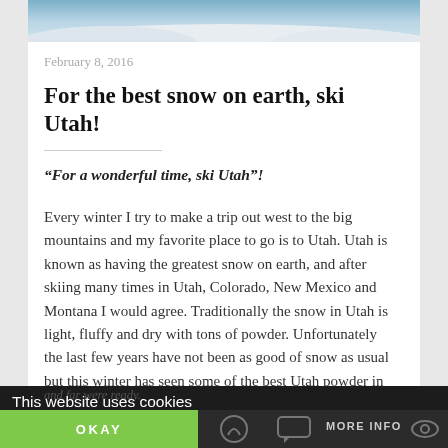[Figure (photo): Top portion of a snowy mountain/ski slope image, showing blue sky and white snow.]
February 8, 2016
For the best snow on earth, ski Utah!
“For a wonderful time, ski Utah”!
Every winter I try to make a trip out west to the big mountains and my favorite place to go is to Utah. Utah is known as having the greatest snow on earth, and after skiing many times in Utah, Colorado, New Mexico and Montana I would agree. Traditionally the snow in Utah is light, fluffy and dry with tons of powder. Unfortunately the last few years have not been as good of snow as usual but this winter has seen some of the best Utah powder in years. And skiers near and far were ready.
This website uses cookies
OKAY
MORE INFO